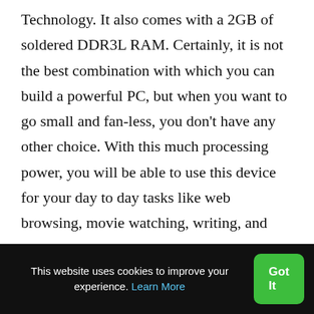Technology. It also comes with a 2GB of soldered DDR3L RAM. Certainly, it is not the best combination with which you can build a powerful PC, but when you want to go small and fan-less, you don't have any other choice. With this much processing power, you will be able to use this device for your day to day tasks like web browsing, movie watching, writing, and music listening.
This website uses cookies to improve your experience. Learn More  Got It